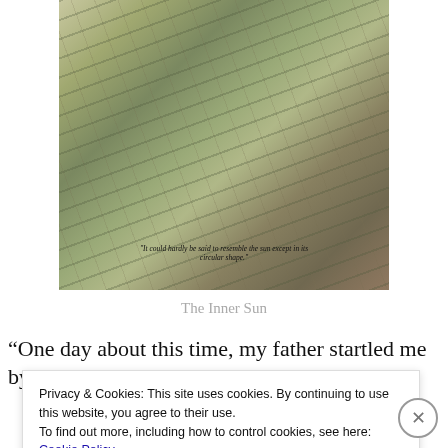[Figure (illustration): A vintage illustrated scene showing the deck of a sailing ship with ropes, rigging, and rough seas. Text overlay at bottom reads: 'It could hardly be said to resemble the sun except in its circular shape.']
The Inner Sun
“One day about this time, my father startled me by calling
Privacy & Cookies: This site uses cookies. By continuing to use this website, you agree to their use.
To find out more, including how to control cookies, see here: Cookie Policy